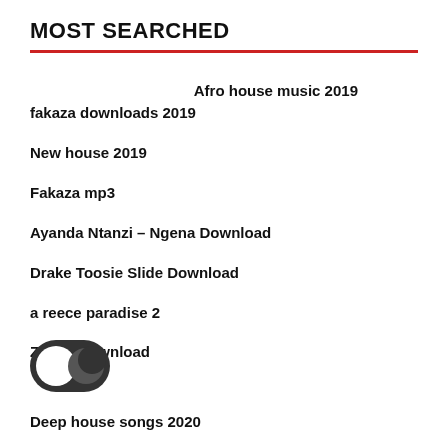MOST SEARCHED
Afro house music 2019
fakaza downloads 2019
New house 2019
Fakaza mp3
Ayanda Ntanzi – Ngena Download
Drake Toosie Slide Download
a reece paradise 2
Zonke Download
[Figure (illustration): Dark mode toggle icon showing a sun/moon toggle button — a white circle and a dark crescent moon on a dark background]
Deep house songs 2020